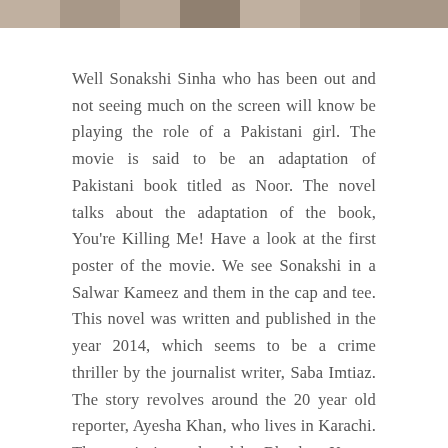[Figure (photo): Horizontal strip of images at the top of the page, showing multiple photos in a collage or filmstrip style.]
Well Sonakshi Sinha who has been out and not seeing much on the screen will know be playing the role of a Pakistani girl. The movie is said to be an adaptation of Pakistani book titled as Noor. The novel talks about the adaptation of the book, You're Killing Me! Have a look at the first poster of the movie. We see Sonakshi in a Salwar Kameez and them in the cap and tee. This novel was written and published in the year 2014, which seems to be a crime thriller by the journalist writer, Saba Imtiaz. The story revolves around the 20 year old reporter, Ayesha Khan, who lives in Karachi. The movie is produced by Bhushan Kumar and Vikram Malhotra. You can find Latest Sonakshi Sharma Wallpaper in HD.